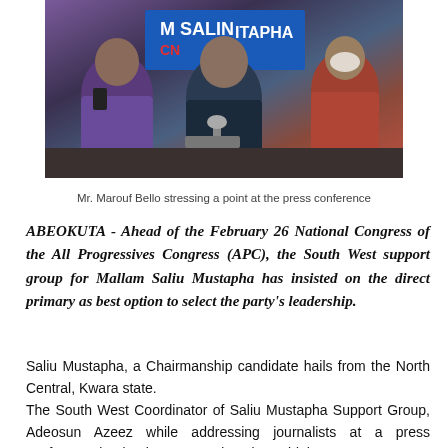[Figure (photo): Mr. Marouf Bello and others seated at a press conference table with a banner in the background]
Mr. Marouf Bello stressing a point at the press conference
ABEOKUTA - Ahead of the February 26 National Congress of the All Progressives Congress (APC), the South West support group for Mallam Saliu Mustapha has insisted on the direct primary as best option to select the party's leadership.
Saliu Mustapha, a Chairmanship candidate hails from the North Central, Kwara state.
The South West Coordinator of Saliu Mustapha Support Group, Adeosun Azeez while addressing journalists at a press conference in Abeokuta on Wednesday said the